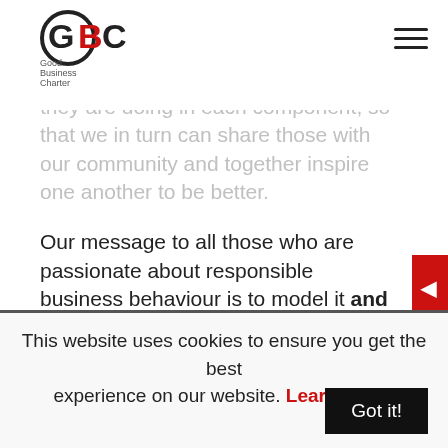Good Business Charter logo and navigation
rewards to continually improve. We look forward to more examples from our accredited organisations of what they are doing in each component, so that we in turn can share those with our community and together inspire one another to be better.
Our message to all those who are passionate about responsible business behaviour is to model it and communicate it well so that all those people who want to shop ethically and work for a business that cares can see you are one of them.
This website uses cookies to ensure you get the best experience on our website. Learn more. Got it!